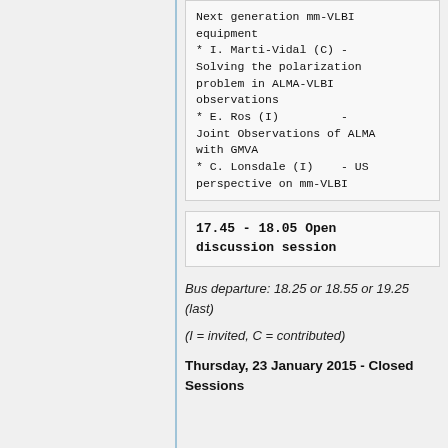Next generation mm-VLBI equipment
* I. Marti-Vidal (C) - Solving the polarization problem in ALMA-VLBI observations
* E. Ros (I)         - Joint Observations of ALMA with GMVA
* C. Lonsdale (I)    - US perspective on mm-VLBI
17.45 - 18.05 Open discussion session
Bus departure: 18.25 or 18.55 or 19.25 (last)
(I = invited, C = contributed)
Thursday, 23 January 2015 - Closed Sessions